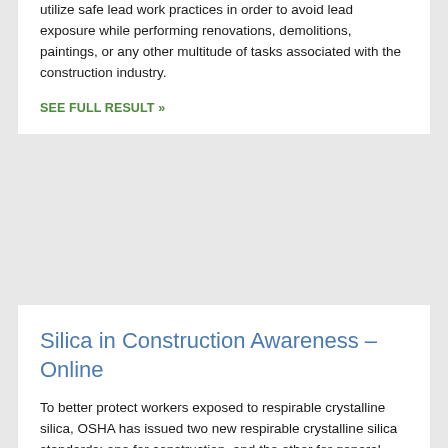utilize safe lead work practices in order to avoid lead exposure while performing renovations, demolitions, paintings, or any other multitude of tasks associated with the construction industry.
SEE FULL RESULT »
Silica in Construction Awareness – Online
To better protect workers exposed to respirable crystalline silica, OSHA has issued two new respirable crystalline silica standards: one for construction, and the other for general industry and maritime. OSHA will begin enforcing most provisions of the standard for construction on September 23, 2017 and this course is in compliance with the training…
SEE FULL RESULT »